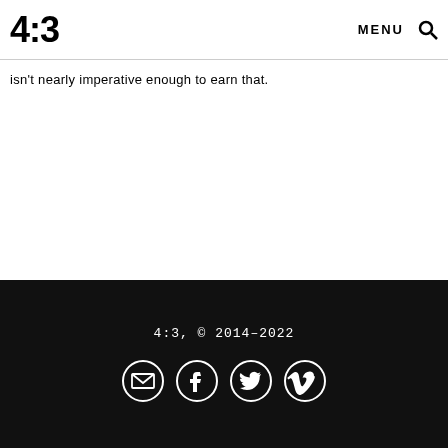4:3  MENU 🔍
isn't nearly imperative enough to earn that.
4:3, © 2014-2022